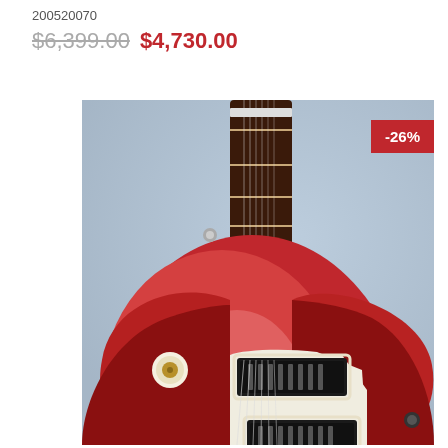200520070
$6,399.00 $4,730.00
[Figure (photo): Close-up photo of a red electric guitar (Les Paul style) with sunburst finish, rosewood fretboard, two humbucking pickups, cream pickguard, on a blue-grey background. A red discount badge showing -26% is overlaid in the top right corner of the image.]